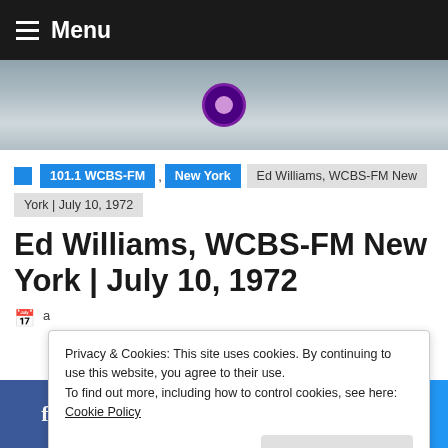Menu
[Figure (screenshot): Website screenshot with navigation bar, breadcrumb trail, page title, and cookie consent banner for a radio broadcast page about Ed Williams, WCBS-FM New York, July 10, 1972]
101.1 WCBS-FM , New York   Ed Williams, WCBS-FM New York | July 10, 1972
Ed Williams, WCBS-FM New York | July 10, 1972
Privacy & Cookies: This site uses cookies. By continuing to use this website, you agree to their use. To find out more, including how to control cookies, see here: Cookie Policy
f  t  p  in  mail